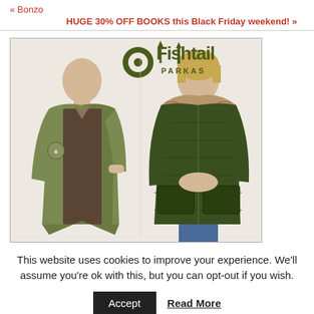« Bonzo
HUGE 30% OFF BOOKS this Black Friday weekend! »
[Figure (photo): Advertisement image for Fishtail Parkas showing two models wearing green military-style parka coats, with the Fishtail Parkas logo (olive circle with dot and text) displayed between them on a light background.]
This website uses cookies to improve your experience. We'll assume you're ok with this, but you can opt-out if you wish.
Accept   Read More